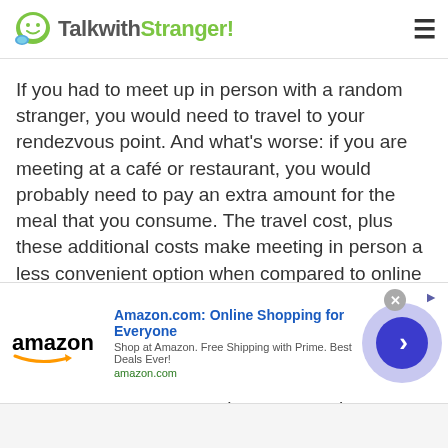TalkwithStranger!
If you had to meet up in person with a random stranger, you would need to travel to your rendezvous point. And what's worse: if you are meeting at a café or restaurant, you would probably need to pay an extra amount for the meal that you consume. The travel cost, plus these additional costs make meeting in person a less convenient option when compared to online chatting platforms.
With our site, you do not need to pay for any travel costs. All you need is a stable Wi-Fi connection and a working device to log onto and join an Bhutanese Omegle Com .
[Figure (screenshot): Amazon.com advertisement banner with logo, title 'Amazon.com: Online Shopping for Everyone', subtitle 'Shop at Amazon. Free Shipping with Prime. Best Deals Ever!', domain 'amazon.com', and a navigation arrow circle button.]